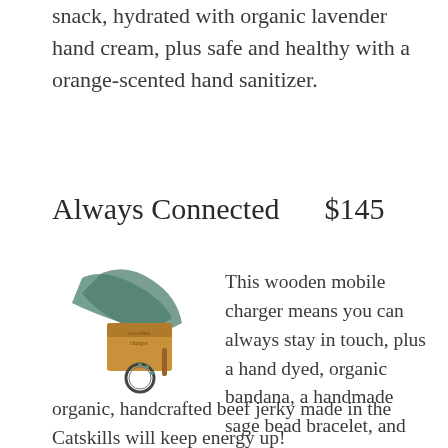snack, hydrated with organic lavender hand cream, plus safe and healthy with a orange-scented hand sanitizer.
Always Connected    $145
[Figure (photo): Product photo showing a wooden mobile charger, green bandana, small wooden box packaging, and circular object arranged together]
This wooden mobile charger means you can always stay in touch, plus a hand dyed, organic bandana, a handmade sage bead bracelet, and organic, handcrafted beef jerky made in the Catskills will keep energy up!